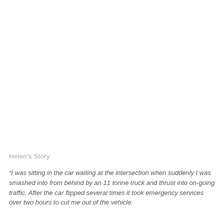Helen's Story
“I was sitting in the car waiting at the intersection when suddenly I was smashed into from behind by an 11 tonne truck and thrust into on-going traffic. After the car flipped several times it took emergency services over two hours to cut me out of the vehicle.